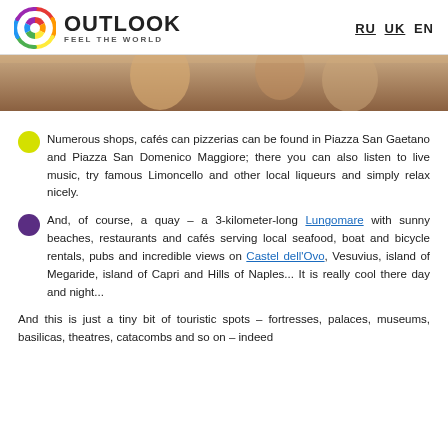OUTLOOK FEEL THE WORLD | RU UK EN
[Figure (photo): Partial photo of people at a beach or outdoor scene, warm sandy tones]
Numerous shops, cafés can pizzerias can be found in Piazza San Gaetano and Piazza San Domenico Maggiore; there you can also listen to live music, try famous Limoncello and other local liqueurs and simply relax nicely.
And, of course, a quay – a 3-kilometer-long Lungomare with sunny beaches, restaurants and cafés serving local seafood, boat and bicycle rentals, pubs and incredible views on Castel dell'Ovo, Vesuvius, island of Megaride, island of Capri and Hills of Naples... It is really cool there day and night...
And this is just a tiny bit of touristic spots – fortresses, palaces, museums, basilicas, theatres, catacombs and so on – indeed